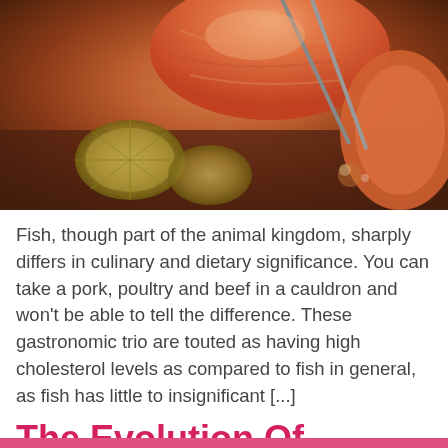[Figure (photo): Close-up photo of salmon sushi being held by chopsticks, with lemon slices visible in the background, warm orange and amber tones.]
Fish, though part of the animal kingdom, sharply differs in culinary and dietary significance. You can take a pork, poultry and beef in a cauldron and won't be able to tell the difference. These gastronomic trio are touted as having high cholesterol levels as compared to fish in general, as fish has little to insignificant [...]
The Evolution Of Societies And Your Health